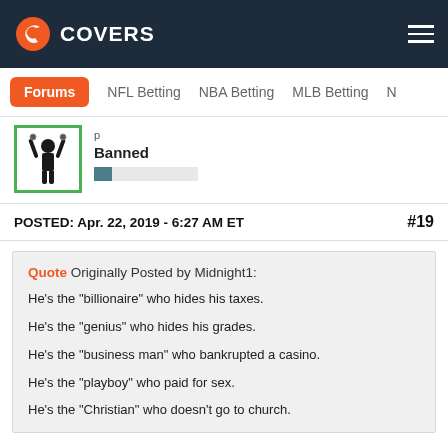COVERS
Forums  NFL Betting  NBA Betting  MLB Betting  N
[Figure (illustration): User avatar silhouette of a person with arms raised in chains, bordered in green]
Banned
POSTED: Apr. 22, 2019 - 6:27 AM ET  #19
Quote Originally Posted by Midnight1:

He's the "billionaire" who hides his taxes.

He's the "genius" who hides his grades.

He's the "business man" who bankrupted a casino.

He's the "playboy" who paid for sex.

He's the "Christian" who doesn't go to church.